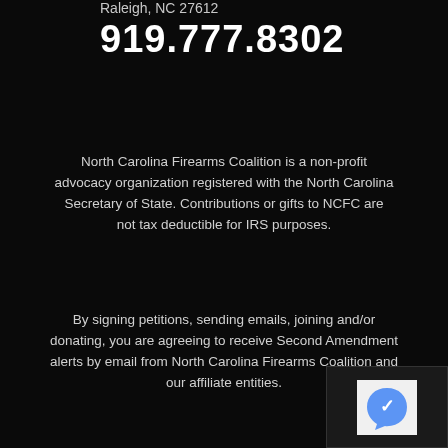Raleigh, NC 27612
919.777.8302
North Carolina Firearms Coalition is a non-profit advocacy organization registered with the North Carolina Secretary of State. Contributions or gifts to NCFC are not tax deductible for IRS purposes.
By signing petitions, sending emails, joining and/or donating, you are agreeing to receive Second Amendment alerts by email from North Carolina Firearms Coalition and our affiliate entities.
[Figure (other): reCAPTCHA widget partially visible in bottom right corner]